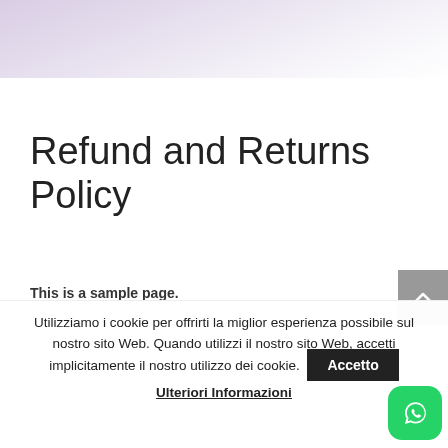Silvia Mancini® cake art & accessories
Refund and Returns Policy
This is a sample page.
Utilizziamo i cookie per offrirti la miglior esperienza possibile sul nostro sito Web. Quando utilizzi il nostro sito Web, accetti implicitamente il nostro utilizzo dei cookie.
Accetto
Ulteriori Informazioni